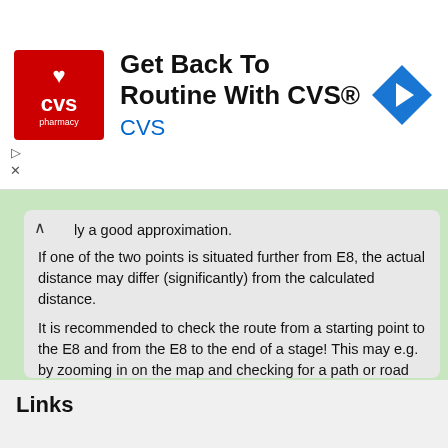[Figure (other): CVS Pharmacy advertisement banner with logo, text 'Get Back To Routine With CVS®' and navigation icon]
ly a good approximation.
If one of the two points is situated further from E8, the actual distance may differ (significantly) from the calculated distance.
It is recommended to check the route from a starting point to the E8 and from the E8 to the end of a stage! This may e.g. by zooming in on the map and checking for a path or road from the starting point to the E8 and from the E8 to the end point.
The track of the E8 may include errors. Also, the recorded POIs may include errors! It is recommended to check the track and points before walking the path!
Other sources for the route
E8 European Ramblers Association
Data routes and POI by OpenStreetMap.org contributors under CC BY-SA 2.0 license.
Links